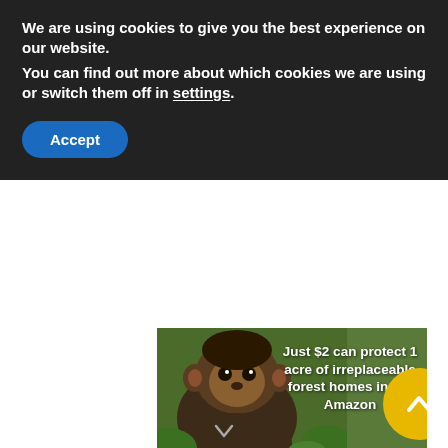We are using cookies to give you the best experience on our website.
You can find out more about which cookies we are using or switch them off in settings.
Accept
[Figure (photo): Advertisement showing a monkey with text 'Just $2 can protect 1 acre of irreplaceable forest homes in the Amazon' with a yellow circle button, and a bottom strip showing an airplane being loaded with cargo and text 'WITHOUT REGARD TO POLITICS, RELIGION OR HEALTH TO ALL']